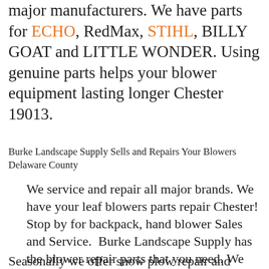major manufacturers. We have parts for ECHO, RedMax, STIHL, BILLY GOAT and LITTLE WONDER. Using genuine parts helps your blower equipment lasting longer Chester 19013.
Burke Landscape Supply Sells and Repairs Your Blowers Delaware County
We service and repair all major brands. We have your leaf blowers parts repair Chester! Stop by for backpack, hand blower Sales and Service.  Burke Landscape Supply has the blower repair parts that you need. We repair ECHO, RedMax, STIHL, BILLY GOAT and LITTLE WONDER.
Seasonally we offer snow plow repair and